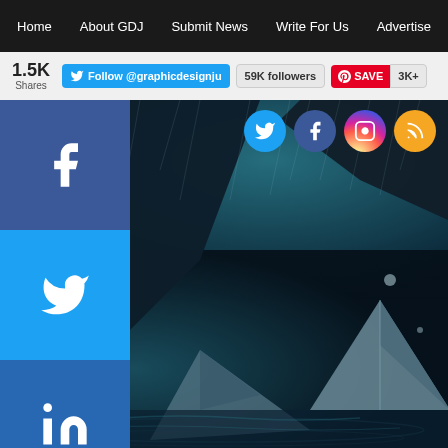Home | About GDJ | Submit News | Write For Us | Advertise
1.5K Shares | Follow @graphicdesignju | 59K followers | SAVE | 3K+
[Figure (screenshot): Website screenshot showing a graphic design blog with dark navigation bar, social sharing sidebar with Facebook, Twitter, LinkedIn, Pinterest buttons, and a dramatic dark artistic image of origami paper boats in rain with social media icons (Twitter, Facebook, Instagram, RSS) in top right]
Facebook share button
Twitter share button
LinkedIn share button
Pinterest save button
More share options button